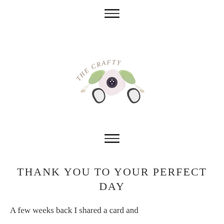≡
[Figure (logo): The Crafty [Co.] logo — watercolor floral anemone with green leaves and botanical stems, handwritten arc text 'THE CRAFTY' above, partially visible stylized lettering below]
≡
THANK YOU TO YOUR PERFECT DAY
A few weeks back I shared a card and